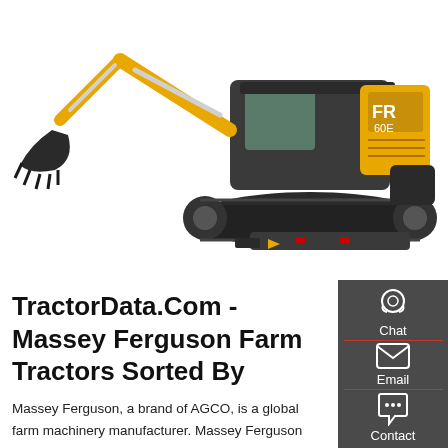[Figure (photo): Yellow and black excavator/mini excavator with boom arm extended to the left and tracks visible, shown against a white background. The machine has 'FR 60E' or similar text on the side.]
TractorData.Com - Massey Ferguson Farm Tractors Sorted By
Massey Ferguson, a brand of AGCO, is a global farm machinery manufacturer. Massey Ferguson was formed in 1952 with the merger of the Massey-Harris and Ferguson companies. Massey Ferguson grew significantly through the following decades; building tractors globally and licensing their design to a number of companies.